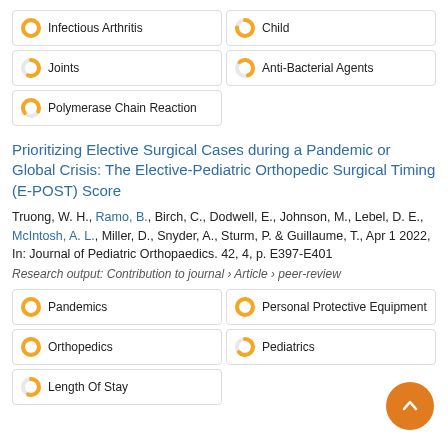Infectious Arthritis
Child
Joints
Anti-Bacterial Agents
Polymerase Chain Reaction
Prioritizing Elective Surgical Cases during a Pandemic or Global Crisis: The Elective-Pediatric Orthopedic Surgical Timing (E-POST) Score
Truong, W. H., Ramo, B., Birch, C., Dodwell, E., Johnson, M., Lebel, D. E., McIntosh, A. L., Miller, D., Snyder, A., Sturm, P. & Guillaume, T., Apr 1 2022, In: Journal of Pediatric Orthopaedics. 42, 4, p. E397-E401
Research output: Contribution to journal › Article › peer-review
Pandemics
Personal Protective Equipment
Orthopedics
Pediatrics
Length Of Stay